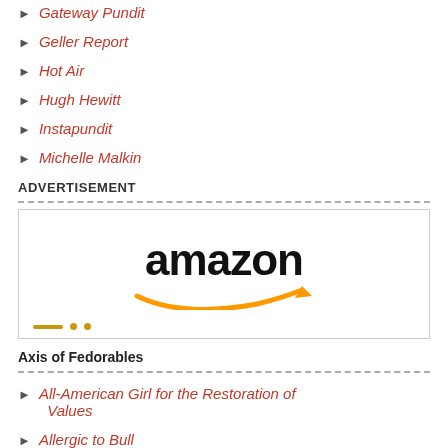Gateway Pundit
Geller Report
Hot Air
Hugh Hewitt
Instapundit
Michelle Malkin
ADVERTISEMENT
[Figure (logo): Amazon logo with orange arrow underneath]
Axis of Fedorables
All-American Girl for the Restoration of Values
Allergic to Bull